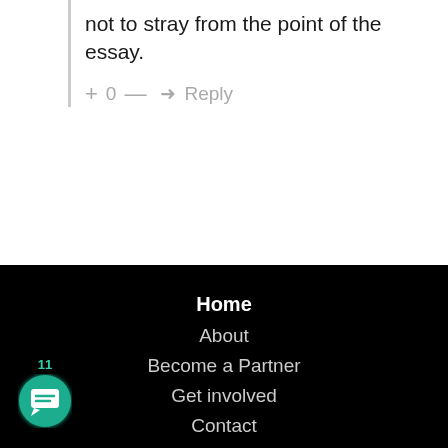not to stray from the point of the essay.
+ 0 — → Reply
Home
About
Become a Partner
Get involved
Contact
[Figure (illustration): Teal circular chat/message icon with white speech bubble icon, with badge showing count 11]